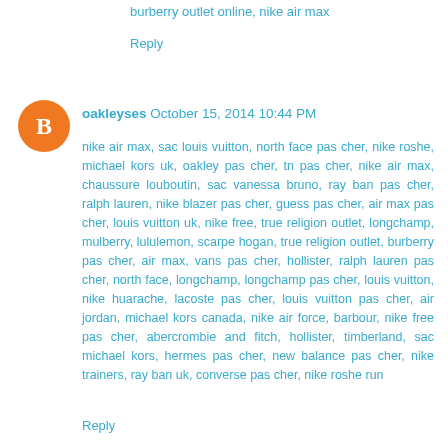burberry outlet online, nike air max
Reply
[Figure (illustration): Orange circular avatar with white letter B]
oakleyses  October 15, 2014 10:44 PM
nike air max, sac louis vuitton, north face pas cher, nike roshe, michael kors uk, oakley pas cher, tn pas cher, nike air max, chaussure louboutin, sac vanessa bruno, ray ban pas cher, ralph lauren, nike blazer pas cher, guess pas cher, air max pas cher, louis vuitton uk, nike free, true religion outlet, longchamp, mulberry, lululemon, scarpe hogan, true religion outlet, burberry pas cher, air max, vans pas cher, hollister, ralph lauren pas cher, north face, longchamp, longchamp pas cher, louis vuitton, nike huarache, lacoste pas cher, louis vuitton pas cher, air jordan, michael kors canada, nike air force, barbour, nike free pas cher, abercrombie and fitch, hollister, timberland, sac michael kors, hermes pas cher, new balance pas cher, nike trainers, ray ban uk, converse pas cher, nike roshe run
Reply